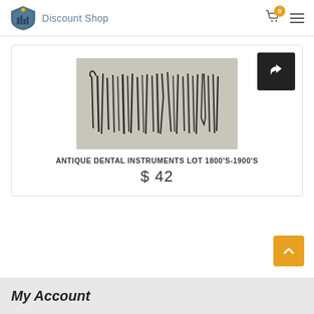Discount Shop
[Figure (photo): Product listing card showing antique dental instruments lot from 1800s-1900s, with a share button, product image of various metal dental tools laid on a surface, product title, and price.]
ANTIQUE DENTAL INSTRUMENTS LOT 1800'S-1900'S
$ 42
My Account